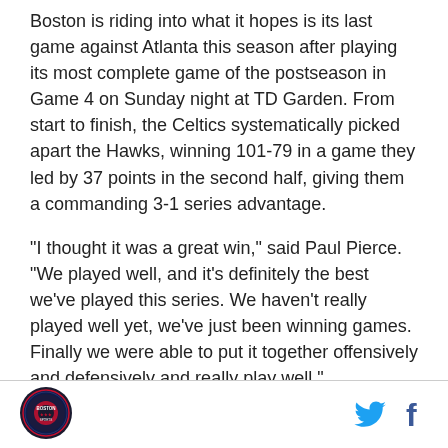Boston is riding into what it hopes is its last game against Atlanta this season after playing its most complete game of the postseason in Game 4 on Sunday night at TD Garden. From start to finish, the Celtics systematically picked apart the Hawks, winning 101-79 in a game they led by 37 points in the second half, giving them a commanding 3-1 series advantage.
"I thought it was a great win," said Paul Pierce. "We played well, and it's definitely the best we've played this series. We haven't really played well yet, we've just been winning games. Finally we were able to put it together offensively and defensively and really play well."
[Figure (logo): Boston sports team circular logo with red and dark blue colors]
[Figure (illustration): Twitter bird icon in light blue and Facebook 'f' icon in dark blue]